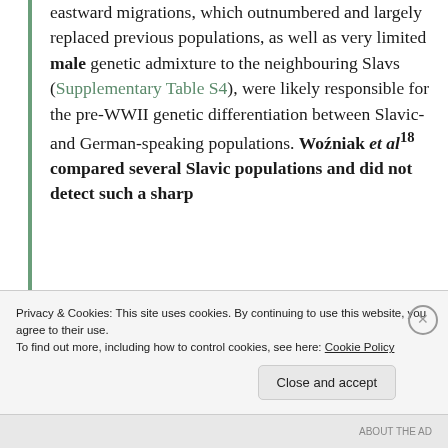eastward migrations, which outnumbered and largely replaced previous populations, as well as very limited male genetic admixture to the neighbouring Slavs (Supplementary Table S4), were likely responsible for the pre-WWII genetic differentiation between Slavic- and German-speaking populations. Woźniak et al18 compared several Slavic populations and did not detect such a sharp
Privacy & Cookies: This site uses cookies. By continuing to use this website, you agree to their use.
To find out more, including how to control cookies, see here: Cookie Policy
ABOUT THE AD